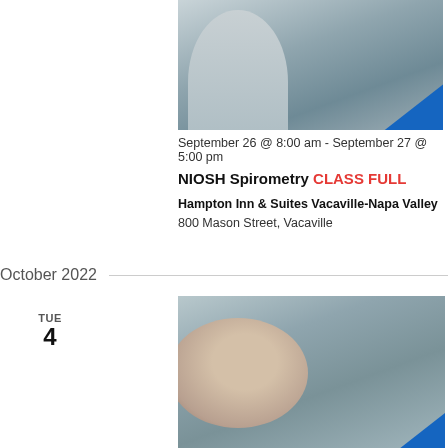[Figure (photo): Person in medical/clinical setting holding spirometry equipment, with blue NIOSH SI diagonal banner overlay]
September 26 @ 8:00 am - September 27 @ 5:00 pm
NIOSH Spirometry CLASS FULL
Hampton Inn & Suites Vacaville-Napa Valley 800 Mason Street, Vacaville
October 2022
TUE 4
[Figure (photo): Man in profile holding spirometry mouthpiece to his face, with blue NIOSH SPIROMETRY diagonal banner overlay]